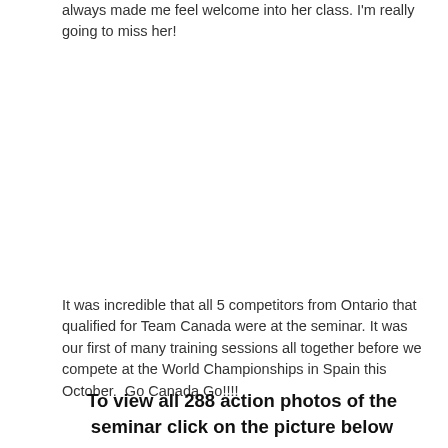always made me feel welcome into her class. I'm really going to miss her!
It was incredible that all 5 competitors from Ontario that qualified for Team Canada were at the seminar. It was our first of many training sessions all together before we compete at the World Championships in Spain this October.  Go Canada Go!!!!
To view all 288 action photos of the seminar click on the picture below